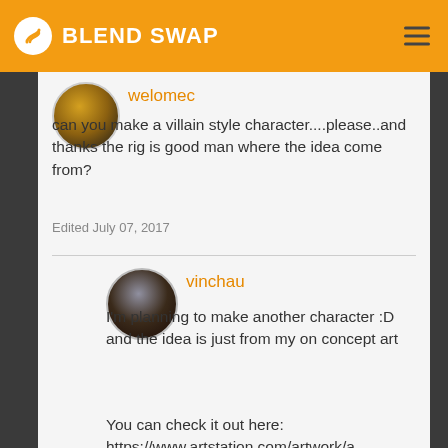BLEND SWAP
welomec
can you make a villain style character....please..and thanks the rig is good man where the idea come from?
Edited July 07, 2017
vinchau
I'm planning to make another character :D and the idea is just from my on concept art
You can check it out here: https://www.artstation.com/artwork/a